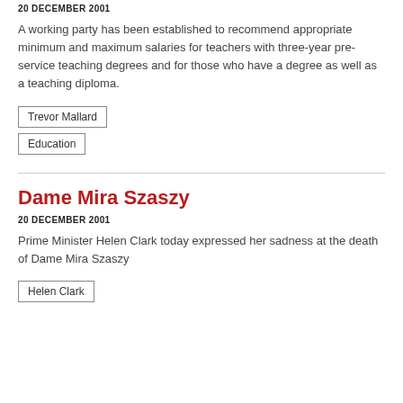20 DECEMBER 2001
A working party has been established to recommend appropriate minimum and maximum salaries for teachers with three-year pre-service teaching degrees and for those who have a degree as well as a teaching diploma.
Trevor Mallard
Education
Dame Mira Szaszy
20 DECEMBER 2001
Prime Minister Helen Clark today expressed her sadness at the death of Dame Mira Szaszy
Helen Clark